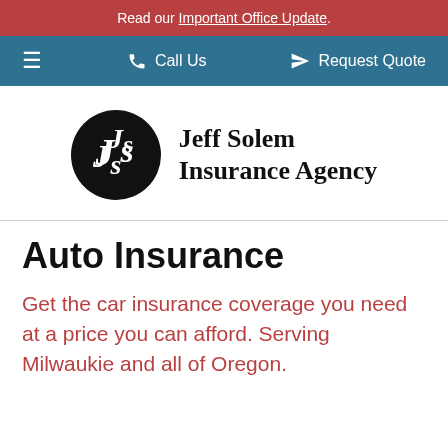Read our Important Office Update.
☰  Call Us    Request Quote
[Figure (logo): Jeff Solem Insurance Agency logo: black circle with white JS initials, followed by 'Jeff Solem Insurance Agency' in bold serif text]
Auto Insurance
Get the car insurance coverage you need at a price you can afford. Serving Milwaukie and all of Oregon.